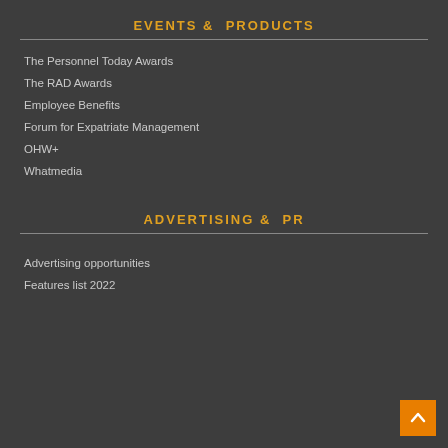EVENTS & PRODUCTS
The Personnel Today Awards
The RAD Awards
Employee Benefits
Forum for Expatriate Management
OHW+
Whatmedia
ADVERTISING & PR
Advertising opportunities
Features list 2022